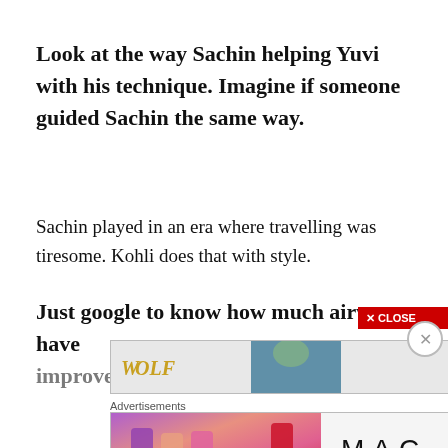Look at the way Sachin helping Yuvi with his technique. Imagine if someone guided Sachin the same way.
Sachin played in an era where travelling was tiresome. Kohli does that with style.
Just google to know how much airways have improved in the past
[Figure (screenshot): Advertisement banner with wolf/animal logo and cat image with close controls]
Advertisements
[Figure (screenshot): MAC cosmetics advertisement showing lipsticks with SHOP NOW button]